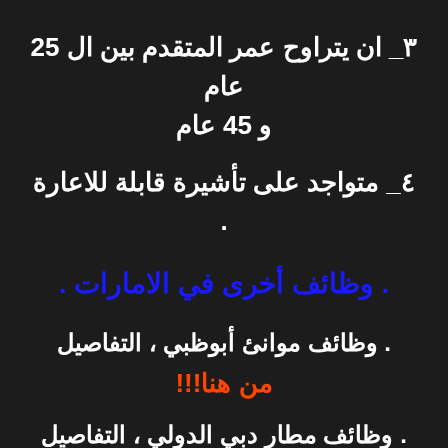٣_ ان يتراوح عمر المتقدم بين ال 25 عام و 45 عام
٤_ متواجد على تأشيرة قابلة للاعارة .
. وظائف أخرى في الامارات .
. وظائف موانئ أبوظبي ، التفاصيل
من هنا!!!
. وظائف مطار دبي الدولي ، التفاصيل
من هنا!!!!!!